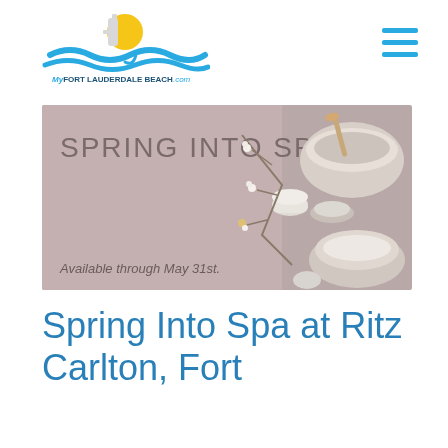MyFortLauderdaleBach.com
[Figure (photo): Spring Into Spa promotional image with spa bowls, candles, branches with white flowers, and text 'SPRING INTO SPA' and 'Available through May 31st.' on a mauve/taupe background]
Spring Into Spa at Ritz Carlton, Fort